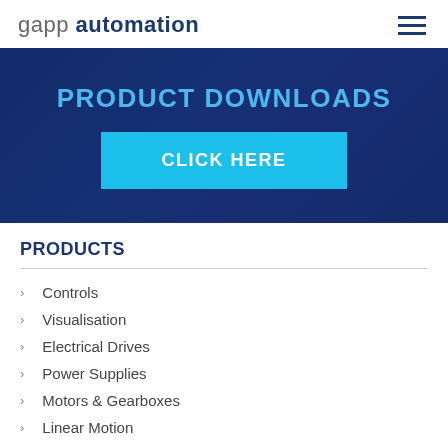gapp automation
[Figure (screenshot): Hero banner with dark blue background showing PRODUCT DOWNLOADS heading and a cyan CLICK HERE button]
PRODUCTS
Controls
Visualisation
Electrical Drives
Power Supplies
Motors & Gearboxes
Linear Motion
Power Transmission
Measurement & Sensing